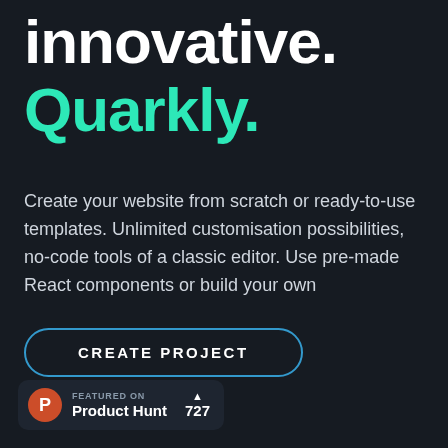innovative. Quarkly.
Create your website from scratch or ready-to-use templates. Unlimited customisation possibilities, no-code tools of a classic editor. Use pre-made React components or build your own
[Figure (other): A rounded pill-shaped button with blue border that reads CREATE PROJECT in uppercase white bold letters]
[Figure (other): Product Hunt badge showing Featured On Product Hunt with upvote count of 727]